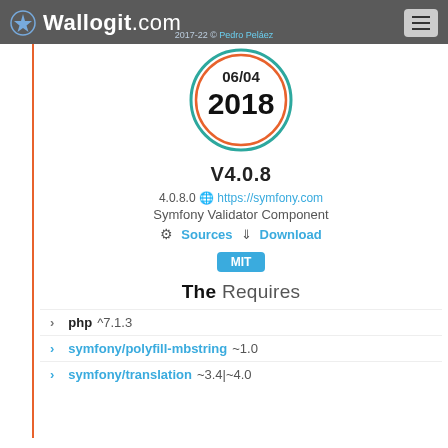Wallogit.com 2017-22 © Pedro Peláez
[Figure (infographic): Circular badge with teal and orange rings showing date 06/04 and year 2018]
V4.0.8
4.0.8.0 https://symfony.com
Symfony Validator Component
Sources Download
MIT
The Requires
php ^7.1.3
symfony/polyfill-mbstring ~1.0
symfony/translation ~3.4|~4.0